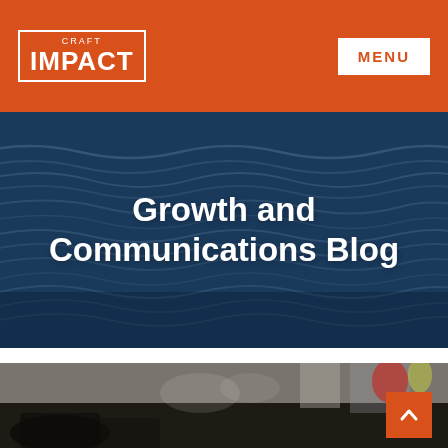CRAFT IMPACT
Growth and Communications Blog
[Figure (photo): Blurred street scene with people, colorful building decorations in the background, viewed from behind a person sitting at an outdoor cafe]
[Figure (other): Orange scroll-to-top button with upward chevron arrow in bottom right corner]